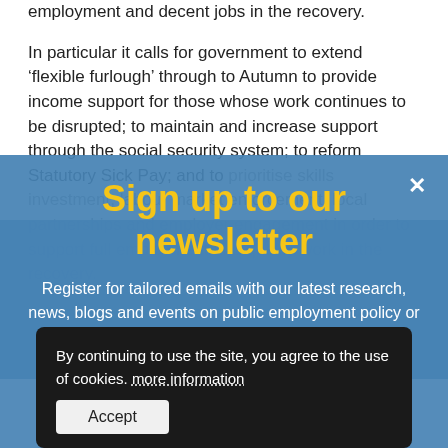employment and decent jobs in the recovery.
In particular it calls for government to extend ‘flexible furlough’ through to Autumn to provide income support for those whose work continues to be disrupted; to maintain and increase support through the social security system; to reform Statutory Sick Pay; and to prioritise skills investment, labour market enforcement, local partnerships and employer engagement in order to support full employment and quality work in the recovery.
Sign up to our newsletter
Register for tailored emails with our latest research, news, blogs and events on public employment policy or human resources topics.
By continuing to use the site, you agree to the use of cookies. more information
Accept